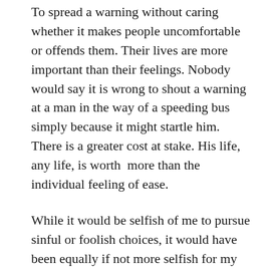To spread a warning without caring whether it makes people uncomfortable or offends them. Their lives are more important than their feelings. Nobody would say it is wrong to shout a warning at a man in the way of a speeding bus simply because it might startle him. There is a greater cost at stake. His life, any life, is worth  more than the individual feeling of ease.
While it would be selfish of me to pursue sinful or foolish choices, it would have been equally if not more selfish for my loved ones to affirm me in these choices. As St. Augustine says in The City of God, “They are reluctant to [rebuke others], even though their rebukes might correct others, lest  their own